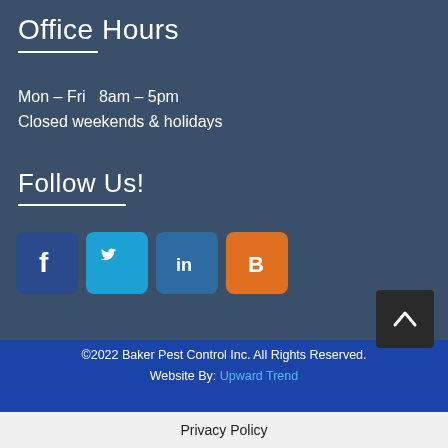Office Hours
Mon – Fri  8am – 5pm
Closed weekends & holidays
Follow Us!
[Figure (illustration): Four social media icon buttons: Facebook (blue), Twitter (light blue), LinkedIn (dark blue), Blogger (orange)]
[Figure (illustration): Scroll-to-top button with upward chevron arrow]
©2022 Baker Pest Control Inc. All Rights Reserved.
Website By: Upward Trend
Privacy Policy